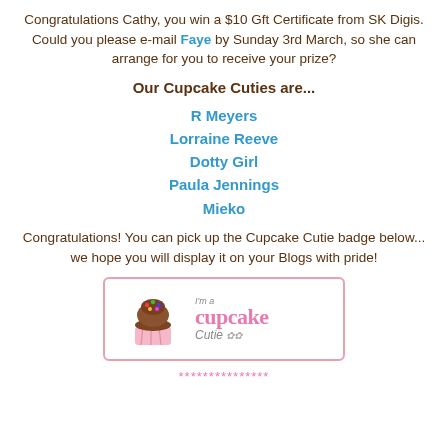Congratulations Cathy, you win a $10 Gft Certificate from SK Digis. Could you please e-mail Faye by Sunday 3rd March, so she can arrange for you to receive your prize?
Our Cupcake Cuties are...
R Meyers
Lorraine Reeve
Dotty Girl
Paula Jennings
Mieko
Congratulations! You can pick up the Cupcake Cutie badge below... we hope you will display it on your Blogs with pride!
[Figure (illustration): Cupcake Cutie badge with a cartoon cupcake on the left and text reading "I'm a cupcake Cutie" on the right, inside a pink bordered rectangle.]
***************